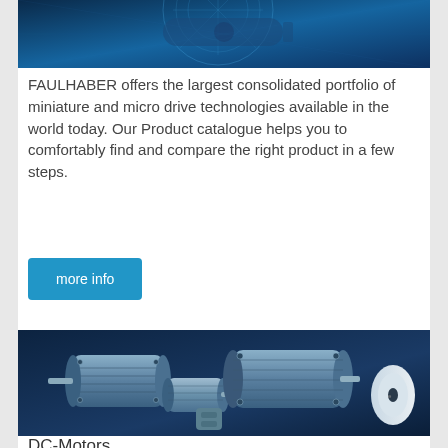[Figure (photo): Dark blue technical/engineering background image showing gear or mechanical component wireframe schematic at top]
FAULHABER offers the largest consolidated portfolio of miniature and micro drive technologies available in the world today. Our Product catalogue helps you to comfortably find and compare the right product in a few steps.
[Figure (other): Blue rounded rectangle button labeled 'more info']
[Figure (photo): Photo of several DC motors and drive components on a dark navy blue background, showing metallic cylindrical motors of various sizes]
DC-Motors